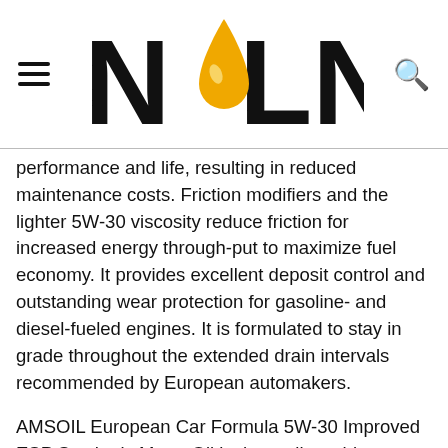[Figure (logo): NOLN logo with oil drop replacing the letter O, hamburger menu icon on left, search icon on right]
performance and life, resulting in reduced maintenance costs. Friction modifiers and the lighter 5W-30 viscosity reduce friction for increased energy through-put to maximize fuel economy. It provides excellent deposit control and outstanding wear protection for gasoline- and diesel-fueled engines. It is formulated to stay in grade throughout the extended drain intervals recommended by European automakers.
AMSOIL European Car Formula 5W-30 Improved ESP Synthetic Motor Oil is thermally stable to keep oil passages clean and promote fluid circulation so turbo bearings stay